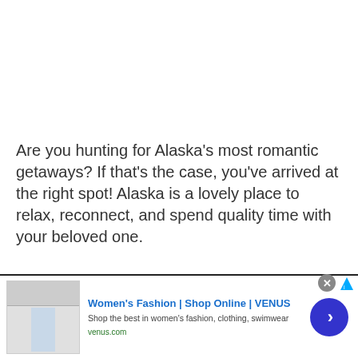Are you hunting for Alaska's most romantic getaways? If that's the case, you've arrived at the right spot! Alaska is a lovely place to relax, reconnect, and spend quality time with your beloved one.
Based on our study of significant travel
[Figure (other): Advertisement banner for Women's Fashion | Shop Online | VENUS. Shows a fashion website screenshot thumbnail on the left, ad text in the middle reading 'Women's Fashion | Shop Online | VENUS', 'Shop the best in women's fashion, clothing, swimwear', 'venus.com', a close button (X) and a blue circular arrow button on the right.]